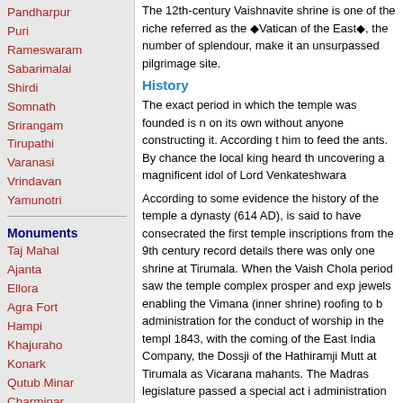Pandharpur
Puri
Rameswaram
Sabarimalai
Shirdi
Somnath
Srirangam
Tirupathi
Varanasi
Vrindavan
Yamunotri
Monuments
Taj Mahal
Ajanta
Ellora
Agra Fort
Hampi
Khajuraho
Konark
Qutub Minar
Charminar
Golconda
Mysore Palace
Red Fort
The 12th-century Vaishnavite shrine is one of the riche referred as the �Vatican of the East�, the number of splendour, make it an unsurpassed pilgrimage site.
History
The exact period in which the temple was founded is n on its own without anyone constructing it. According t him to feed the ants. By chance the local king heard th uncovering a magnificent idol of Lord Venkateshwara
According to some evidence the history of the temple a dynasty (614 AD), is said to have consecrated the first temple inscriptions from the 9th century record details there was only one shrine at Tirumala. When the Vaish Chola period saw the temple complex prosper and exp jewels enabling the Vimana (inner shrine) roofing to b administration for the conduct of worship in the templ 1843, with the coming of the East India Company, the Dossji of the Hathiramji Mutt at Tirumala as Vicarana mahants. The Madras legislature passed a special act i administration and control through a commissioner ap the estates of the TTD, and was assisted by a Religious
Temple of Lord Venkateswara
It is an ancient temple, that has witnessed the rise an